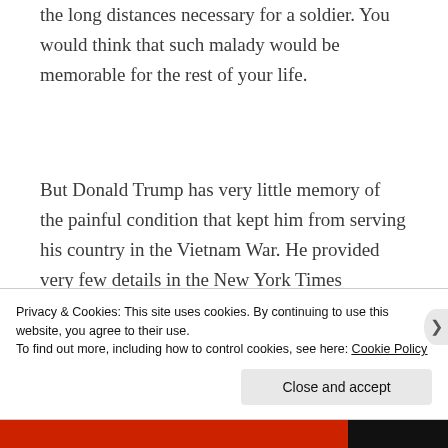the long distances necessary for a soldier. You would think that such malady would be memorable for the rest of your life.
But Donald Trump has very little memory of the painful condition that kept him from serving his country in the Vietnam War. He provided very few details in the New York Times interview, even when pressed. He could not remember which foot, or both, was
Privacy & Cookies: This site uses cookies. By continuing to use this website, you agree to their use.
To find out more, including how to control cookies, see here: Cookie Policy
Close and accept